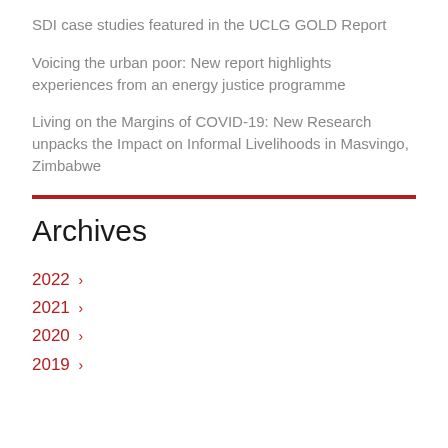SDI case studies featured in the UCLG GOLD Report
Voicing the urban poor: New report highlights experiences from an energy justice programme
Living on the Margins of COVID-19: New Research unpacks the Impact on Informal Livelihoods in Masvingo, Zimbabwe
Archives
2022 ›
2021 ›
2020 ›
2019 ›